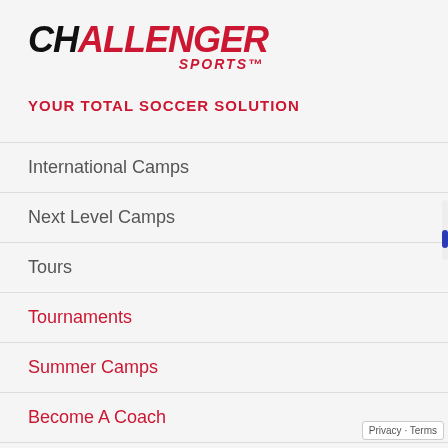[Figure (logo): Challenger Sports logo with bold italic text 'CHALLENGER' in black and 'SPORTS™' in red italic below]
YOUR TOTAL SOCCER SOLUTION
International Camps
Next Level Camps
Tours
Tournaments
Summer Camps
Become A Coach
Challenger Foundation
Privacy · Terms